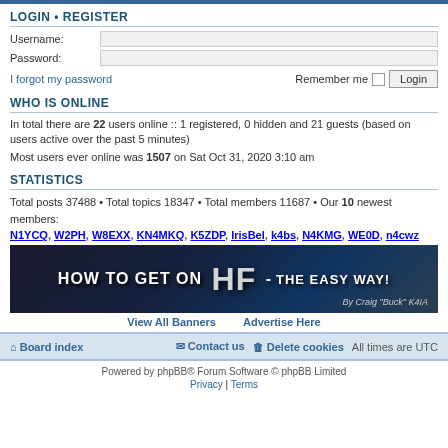LOGIN • REGISTER
Username:
Password:
I forgot my password
Remember me  Login
WHO IS ONLINE
In total there are 22 users online :: 1 registered, 0 hidden and 21 guests (based on users active over the past 5 minutes)
Most users ever online was 1507 on Sat Oct 31, 2020 3:10 am
STATISTICS
Total posts 37488 • Total topics 18347 • Total members 11687 • Our 10 newest members:
N1YCQ, W2PH, W8EXX, KN4MKQ, K5ZDP, IrisBel, k4bs, N4KMG, WE0D, n4cwz
[Figure (illustration): HOW TO GET ON HF - THE EASY WAY! banner advertisement by Craig Buck K4IA]
View All Banners    Advertise Here
Board index   Contact us   Delete cookies   All times are UTC
Powered by phpBB® Forum Software © phpBB Limited
Privacy | Terms